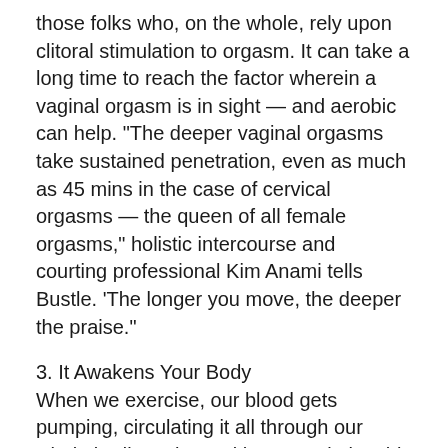those folks who, on the whole, rely upon clitoral stimulation to orgasm. It can take a long time to reach the factor wherein a vaginal orgasm is in sight — and aerobic can help. "The deeper vaginal orgasms take sustained penetration, even as much as 45 mins in the case of cervical orgasms — the queen of all female orgasms," holistic intercourse and courting professional Kim Anami tells Bustle. 'The longer you move, the deeper the praise."
3. It Awakens Your Body
When we exercise, our blood gets pumping, circulating it all through our whole bodies, along with our genitals. This blood glide and move may be stepped forward via aerobic workout a few times every week or by practicing yoga.
"Yoga is a top-notch exercise to increase flexibility [and] end up aware of your breath," Anami says. "[Yoga] has